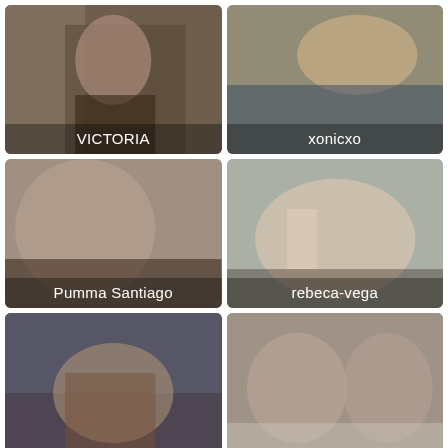[Figure (photo): Woman with long black hair in black outfit, indoor setting, name overlay: VICTORIA]
[Figure (photo): Blonde woman in orange top lying on bed, name overlay: xonicxo]
[Figure (photo): Woman with dark hair in intimate pose, name overlay: Pumma Santiago]
[Figure (photo): Close-up intimate pose with red accessory, name overlay: rebeca-vega]
[Figure (photo): Woman in leopard print dress with city background, no visible name label]
[Figure (photo): Two women in black lingerie on white surface, no visible name label]